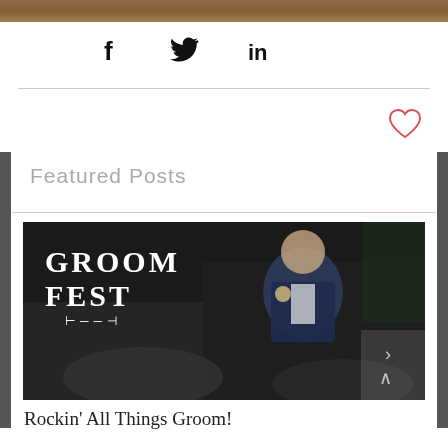[Figure (photo): Top partial photo showing a desk/table with papers, dark and warm toned background]
[Figure (infographic): Social sharing icons: Facebook (f), Twitter (bird), LinkedIn (in) in black]
[Figure (other): Red heart/like button icon in the upper right]
Featured Posts
[Figure (photo): GROOM FEST logo text overlaid on a dark photo of a groom in a navy tuxedo being lifted by crowd at a wedding celebration]
Rockin' All Things Groom!